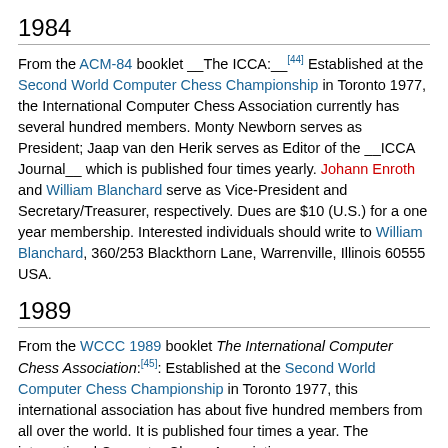1984
From the ACM-84 booklet __The ICCA:__[44] Established at the Second World Computer Chess Championship in Toronto 1977, the International Computer Chess Association currently has several hundred members. Monty Newborn serves as President; Jaap van den Herik serves as Editor of the __ICCA Journal__ which is published four times yearly. Johann Enroth and William Blanchard serve as Vice-President and Secretary/Treasurer, respectively. Dues are $10 (U.S.) for a one year membership. Interested individuals should write to William Blanchard, 360/253 Blackthorn Lane, Warrenville, Illinois 60555 USA.
1989
From the WCCC 1989 booklet The International Computer Chess Association:[45]: Established at the Second World Computer Chess Championship in Toronto 1977, this international association has about five hundred members from all over the world. It is published four times a year. The international Computer Chess Association